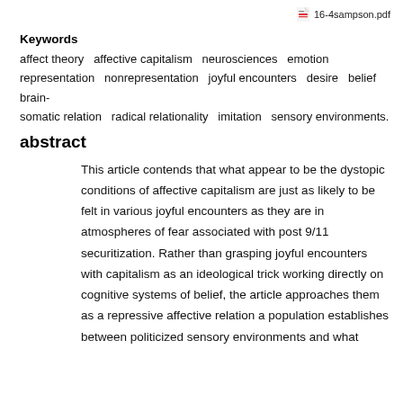16-4sampson.pdf
Keywords
affect theory   affective capitalism   neurosciences   emotion   representation   nonrepresentation   joyful encounters   desire   belief   brain-somatic relation   radical relationality   imitation   sensory environments.
abstract
This article contends that what appear to be the dystopic conditions of affective capitalism are just as likely to be felt in various joyful encounters as they are in atmospheres of fear associated with post 9/11 securitization. Rather than grasping joyful encounters with capitalism as an ideological trick working directly on cognitive systems of belief, the article approaches them as a repressive affective relation a population establishes between politicized sensory environments and what